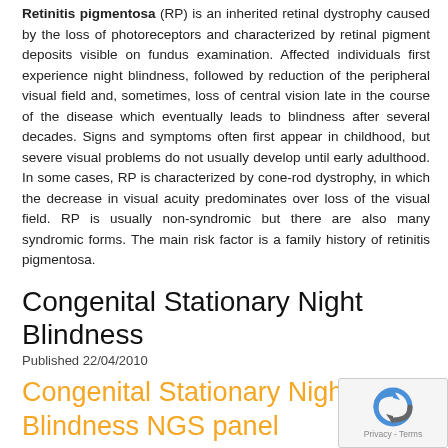Retinitis pigmentosa (RP) is an inherited retinal dystrophy caused by the loss of photoreceptors and characterized by retinal pigment deposits visible on fundus examination. Affected individuals first experience night blindness, followed by reduction of the peripheral visual field and, sometimes, loss of central vision late in the course of the disease which eventually leads to blindness after several decades. Signs and symptoms often first appear in childhood, but severe visual problems do not usually develop until early adulthood. In some cases, RP is characterized by cone-rod dystrophy, in which the decrease in visual acuity predominates over loss of the visual field. RP is usually non-syndromic but there are also many syndromic forms. The main risk factor is a family history of retinitis pigmentosa.
Congenital Stationary Night Blindness
Published 22/04/2010
Congenital Stationary Night Blindness NGS panel
| Genes (full coding |
| --- |
| CABP4, CACNA1F, CHM, | GRK1, GRM6, NYX, PDE6B, RDH5 |